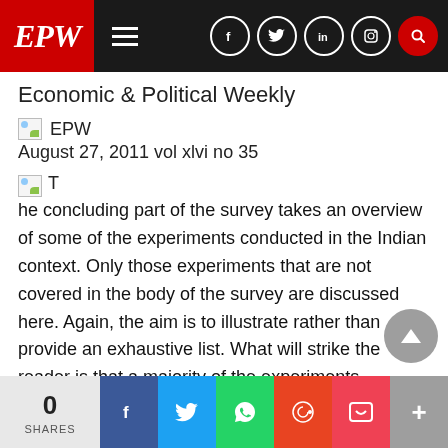EPW — Economic & Political Weekly
EPW
August 27, 2011 vol xlvi no 35
T
he concluding part of the survey takes an overview of some of the experiments conducted in the Indian context. Only those experiments that are not covered in the body of the survey are discussed here. Again, the aim is to illustrate rather than provide an exhaustive list. What will strike the reader is that a majority of the experiments surveyed here are field experiments rather tha
0 SHARES | Facebook | Twitter | WhatsApp | Reddit | Pocket | More